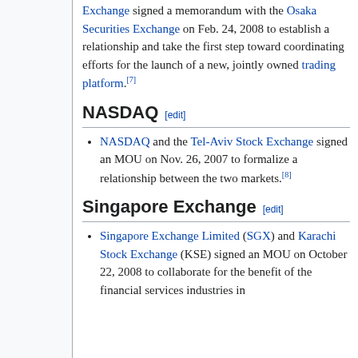Exchange signed a memorandum with the Osaka Securities Exchange on Feb. 24, 2008 to establish a relationship and take the first step toward coordinating efforts for the launch of a new, jointly owned trading platform.[7]
NASDAQ [edit]
NASDAQ and the Tel-Aviv Stock Exchange signed an MOU on Nov. 26, 2007 to formalize a relationship between the two markets.[8]
Singapore Exchange [edit]
Singapore Exchange Limited (SGX) and Karachi Stock Exchange (KSE) signed an MOU on October 22, 2008 to collaborate for the benefit of the financial services industries in